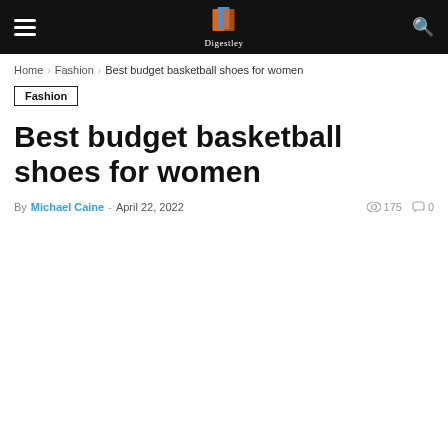Digestley navigation bar with hamburger menu, Digestley logo, and search icon
Home › Fashion › Best budget basketball shoes for women
Fashion
Best budget basketball shoes for women
By Michael Caine - April 22, 2022  175  0